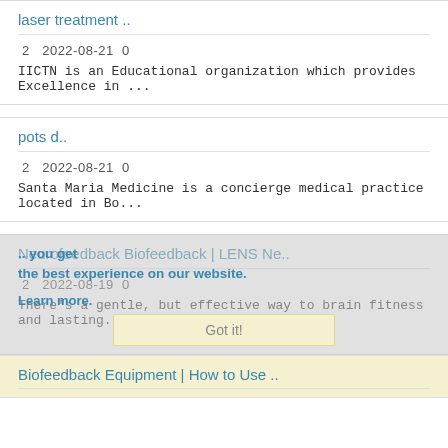laser treatment ..
2  2022-08-21  0
IICTN is an Educational organization which provides Excellence in ...
pots d..
2  2022-08-21  0
Santa Maria Medicine is a concierge medical practice located in Bo...
Neurofeedback Biofeedback | LENS Ne..
2  2022-08-19  0
There's a gentle, but effective way to brain fitness and lasting...
Biofeedback Equipment | How to Use ..